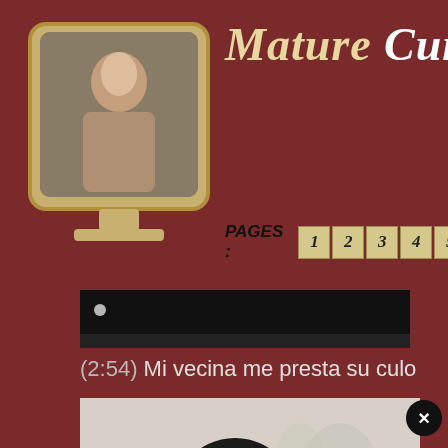Mature Cunt M
[Figure (screenshot): Monitor frame icon with a woman photo displayed on screen]
PAGES : 1 2 3 4 5 6 7 8
[Figure (screenshot): Dark video thumbnail strip]
(2:54) Mi vecina me presta su culo
[Figure (photo): Woman in black lingerie posing with back to camera against floral wallpaper]
×